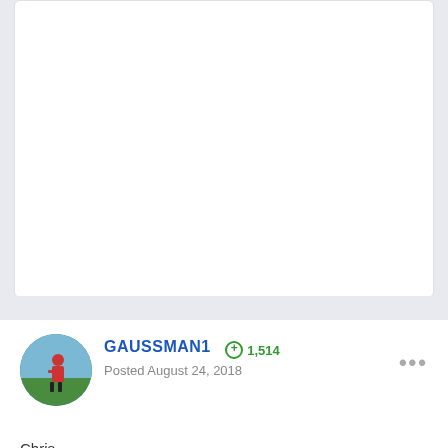[Figure (photo): White card area at top of forum page showing previous post content (blank/cut off)]
GAUSSMAN1  ⊕ 1,514
Posted August 24, 2018
Chris

Indiana

0.6

Srixon 7765 Nippon Modus 120 S